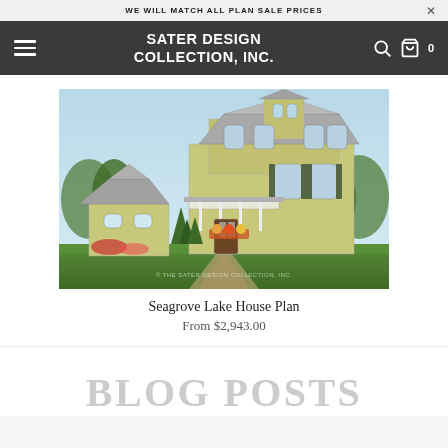WE WILL MATCH ALL PLAN SALE PRICES
SATER DESIGN COLLECTION, INC.
[Figure (photo): Exterior rendering of the Seagrove Lake House Plan, a multi-story green/yellow coastal house with metal roof, balconies, and surrounding landscaping. Watermark reads 'THE SATER DESIGN COLLECTION, INC.']
Seagrove Lake House Plan
From $2,943.00
BLOG POSTS